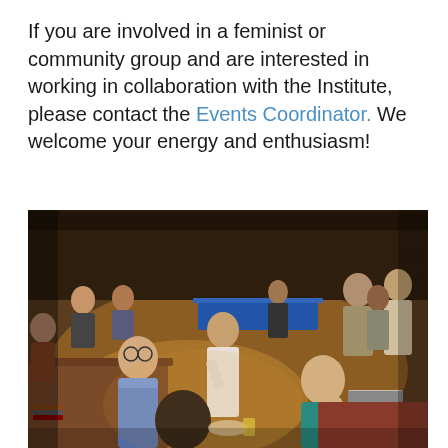If you are involved in a feminist or community group and are interested in working in collaboration with the Institute, please contact the Events Coordinator. We welcome your energy and enthusiasm!
[Figure (photo): A busy indoor community gathering or fair in a large hall. People are standing and sitting around tables, socializing and networking. In the foreground, a young woman in a teal sweater sits at a table with food and a laptop nearby. A young man with glasses in a blue shirt stands talking to a woman in a white shirt. Various people are visible in the background around tables with tablecloths.]